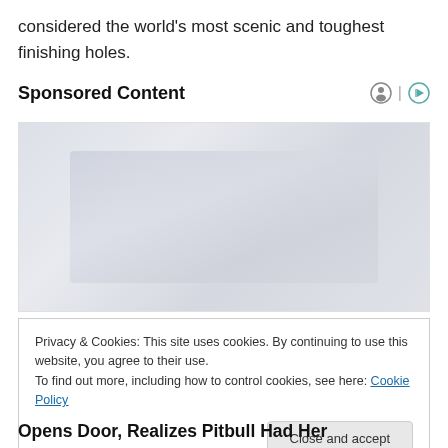considered the world's most scenic and toughest finishing holes.
Sponsored Content
[Figure (other): Sponsored content advertisement image placeholder with light gray background]
Privacy & Cookies: This site uses cookies. By continuing to use this website, you agree to their use.
To find out more, including how to control cookies, see here: Cookie Policy
[Close and accept]
Opens Door, Realizes Pitbull Had Her